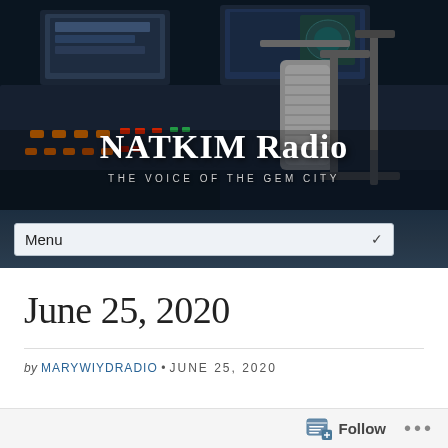[Figure (photo): Radio studio with mixing board and professional microphone in foreground, monitors in background. Dark studio environment.]
NATKIM Radio
THE VOICE OF THE GEM CITY
Menu
June 25, 2020
by MARYWIYDRADIO • JUNE 25, 2020